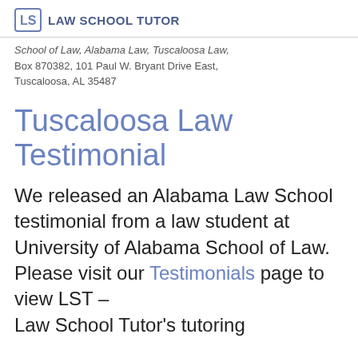LST LAW SCHOOL TUTOR
School of Law, Alabama Law, Tuscaloosa Law, Box 870382, 101 Paul W. Bryant Drive East, Tuscaloosa, AL 35487
Tuscaloosa Law Testimonial
We released an Alabama Law School testimonial from a law student at University of Alabama School of Law. Please visit our Testimonials page to view LST – Law School Tutor's tutoring